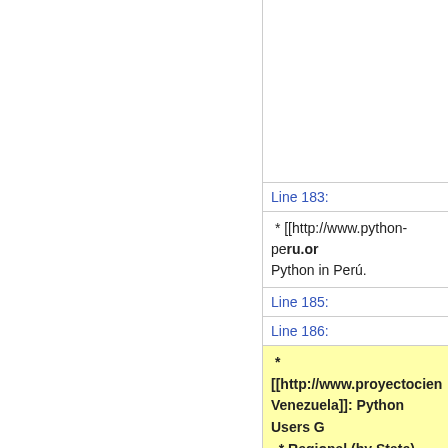Line 183:
* [[http://www.python-peru.or... Python in Perú.
Line 185:
Line 186:
* [[http://www.proyectocien... Venezuela]]: Python Users G...
  * Regional (by State)
  * [[http://groups.google.co... Venezuela]] : Website of Pyt... de usuarios Python en Cara...
Line 191: